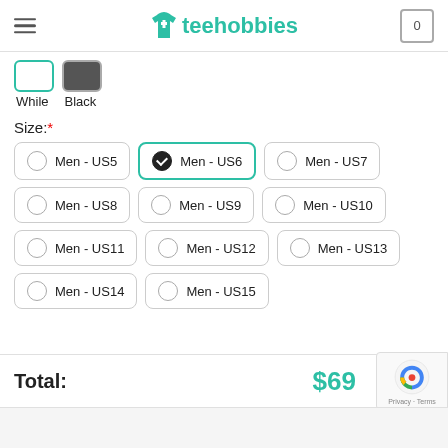teehobbies
While  Black
Size: *
Men - US5
Men - US6 (selected)
Men - US7
Men - US8
Men - US9
Men - US10
Men - US11
Men - US12
Men - US13
Men - US14
Men - US15
Total: $69